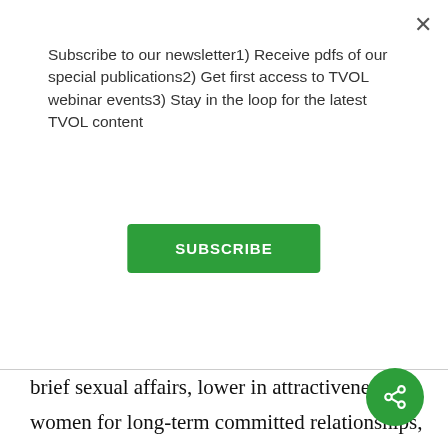Subscribe to our newsletter1) Receive pdfs of our special publications2) Get first access to TVOL webinar events3) Stay in the loop for the latest TVOL content
SUBSCRIBE
brief sexual affairs, lower in attractiveness to women for long-term committed relationships, and higher in developmental environment unpredictability compared to men owning shirts displaying a smaller logo. This pattern is completely consistent with the life history-based model. In another study,